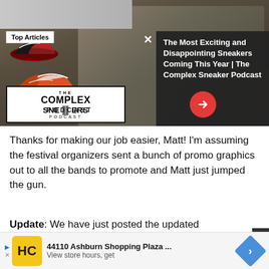[Figure (screenshot): Top banner showing The Complex Sneakers Podcast promotional image with podcast hosts, sneaker images, podcast logo, and overlay panel with article title]
Top Articles
The Most Exciting and Disappointing Sneakers Coming This Year | The Complex Sneaker Podcast
Thanks for making our job easier, Matt! I'm assuming the festival organizers sent a bunch of promo graphics out to all the bands to promote and Matt just jumped the gun.
Update: We have just posted the updated CONFIRMED annou
[Figure (screenshot): Ad banner for 44110 Ashburn Shopping Plaza with HC logo, store hours info, and navigation arrow icon]